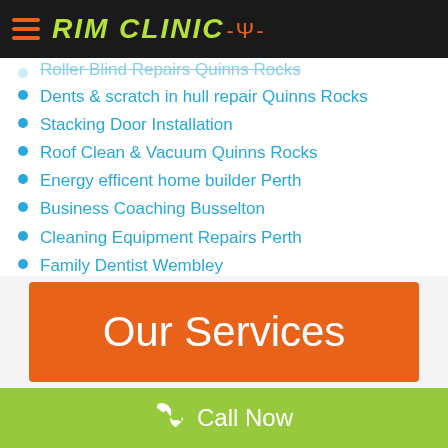RIM CLINIC
Roller Blind Repairs Quinns Rocks
Dents & scratch in hull repair Quinns Rocks
Stacking Door Installation
Roof Clean & Vacuum Quinns Rocks
Energy efficent home builder Perth
Business Coaching Busselton
Cleaning Equipment Repairs Perth
Family Dentist Wembley
Quinns Rocks Accountants and tax Agents
Quinns Rocks Plumber
Settlement Agent Quinns Rocks
Bumper Scratch Repair
Effective Sandy Soil Treatments
Rexline Premium Rubber
Our Services
Call Now